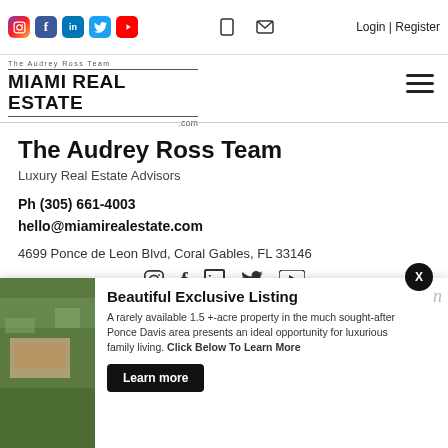Social icons: Instagram, Facebook, LinkedIn, Twitter, YouTube | Mobile icon | Email icon | Login | Register
[Figure (logo): The Audrey Ross Team – MIAMI REAL ESTATE .com logo with horizontal rule lines]
The Audrey Ross Team
Luxury Real Estate Advisors
Ph (305) 661-4003
hello@miamirealestate.com
4699 Ponce de Leon Blvd, Coral Gables, FL 33146
[Figure (infographic): Social media icons row: Instagram, Facebook, LinkedIn, Twitter, YouTube]
[Figure (photo): Aerial photo of a large property in Ponce Davis area, Miami]
Beautiful Exclusive Listing
A rarely available 1.5 +-acre property in the much sought-after Ponce Davis area presents an ideal opportunity for luxurious family living. Click Below To Learn More
Learn more